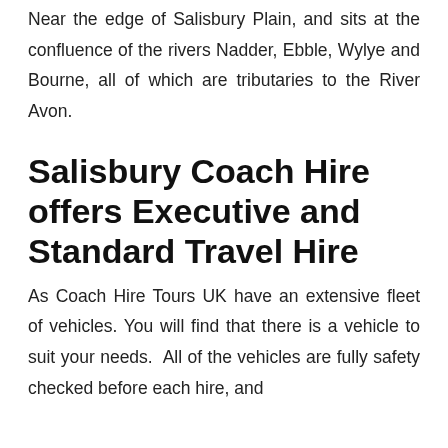Near the edge of Salisbury Plain, and sits at the confluence of the rivers Nadder, Ebble, Wylye and Bourne, all of which are tributaries to the River Avon.
Salisbury Coach Hire offers Executive and Standard Travel Hire
As Coach Hire Tours UK have an extensive fleet of vehicles. You will find that there is a vehicle to suit your needs.  All of the vehicles are fully safety checked before each hire, and